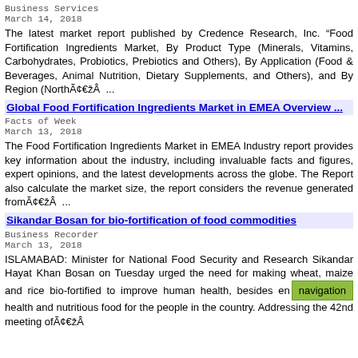Business Services
March 14, 2018
The latest market report published by Credence Research, Inc. “Food Fortification Ingredients Market, By Product Type (Minerals, Vitamins, Carbohydrates, Probiotics, Prebiotics and Others), By Application (Food & Beverages, Animal Nutrition, Dietary Supplements, and Others), and By Region (NorthÃ¢â€Â¢ ...
Global Food Fortification Ingredients Market in EMEA Overview ...
Facts of Week
March 13, 2018
The Food Fortification Ingredients Market in EMEA Industry report provides key information about the industry, including invaluable facts and figures, expert opinions, and the latest developments across the globe. The Report also calculate the market size, the report considers the revenue generated fromÃ¢â€Â¢ ...
Sikandar Bosan for bio-fortification of food commodities
Business Recorder
March 13, 2018
ISLAMABAD: Minister for National Food Security and Research Sikandar Hayat Khan Bosan on Tuesday urged the need for making wheat, maize and rice bio-fortified to improve human health, besides ensuring health and nutritious food for the people in the country. Addressing the 42nd meeting ofÃ¢â€Â¢